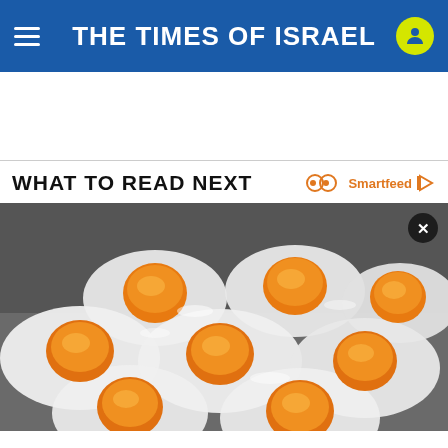THE TIMES OF ISRAEL
WHAT TO READ NEXT
[Figure (photo): Multiple fried eggs with bright orange yolks cooking on a flat surface, viewed from above]